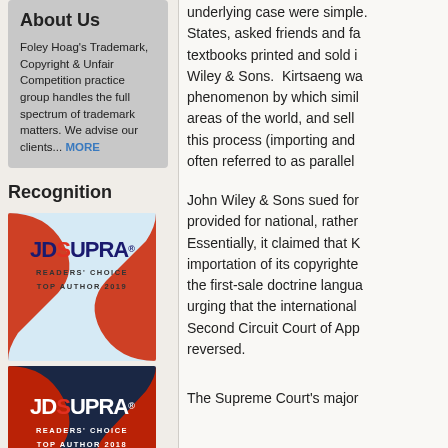About Us
Foley Hoag's Trademark, Copyright & Unfair Competition practice group handles the full spectrum of trademark matters. We advise our clients... MORE
Recognition
[Figure (logo): JD Supra Readers' Choice Top Author 2019 badge - light blue background with red graphic and white text]
[Figure (logo): JD Supra Readers' Choice Top Author 2018 badge - dark navy background with red graphic and white text]
underlying case were simple. States, asked friends and fa textbooks printed and sold i Wiley & Sons.  Kirtsaeng wa phenomenon by which simil areas of the world, and sell this process (importing and often referred to as parallel
John Wiley & Sons sued for provided for national, rather Essentially, it claimed that K importation of its copyrighte the first-sale doctrine langua urging that the international Second Circuit Court of App reversed.
The Supreme Court's major